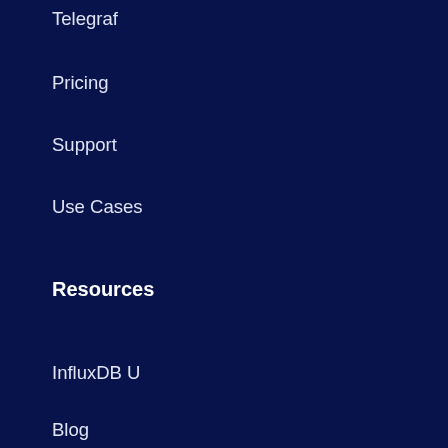Telegraf
Pricing
Support
Use Cases
Resources
InfluxDB U
Blog
Community
Customers
Swag
Events
InfluxData
About
Careers
Partners